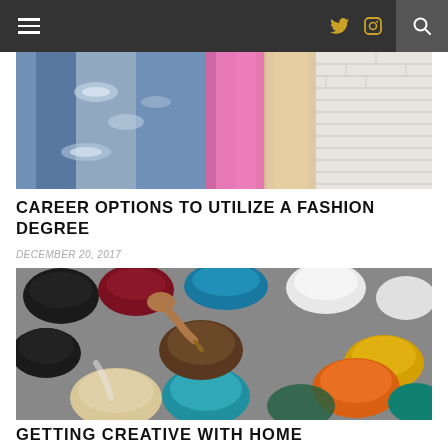Navigation bar with hamburger menu, Twitter icon, Instagram icon, and search icon
[Figure (photo): Fashion photo showing ripped denim jeans, pink bag, beige element, and white brick wall background — cropped, showing lower half of outfit]
CAREER OPTIONS TO UTILIZE A FASHION DEGREE
DECEMBER 20, 2017
[Figure (photo): Overhead view of many open paint cans with various colors (black, maroon, teal, white, yellow, orange, brown, blue, green) with a hand using a brush to stir one of the cans]
GETTING CREATIVE WITH HOME